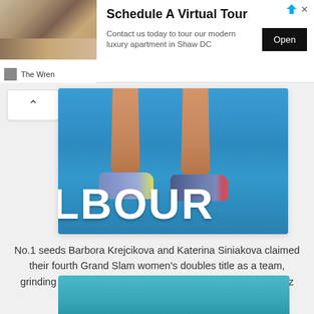[Figure (screenshot): Advertisement banner for 'The Wren' luxury apartment. Shows room photo on left, headline 'Schedule A Virtual Tour', subtext 'Contact us today to tour our modern luxury apartment in Shaw DC', and an 'Open' button. Triangular ad icon and X close icon in top right.]
[Figure (photo): Tennis court photo showing legs and feet of two players standing on a blue Melbourne (Australian Open) court surface, with white text 'LBOUR' visible on the court floor (partial 'MELBOURNE').]
No.1 seeds Barbora Krejcikova and Katerina Siniakova claimed their fourth Grand Slam women's doubles title as a team, grinding past the unseeded duo of Anna Danilina and Beatriz Haddad Maia, 6-7(3), 6-4, 6-4.
[Figure (photo): Partial view of a second tennis-related photo at the bottom of the page, showing a blue court surface.]